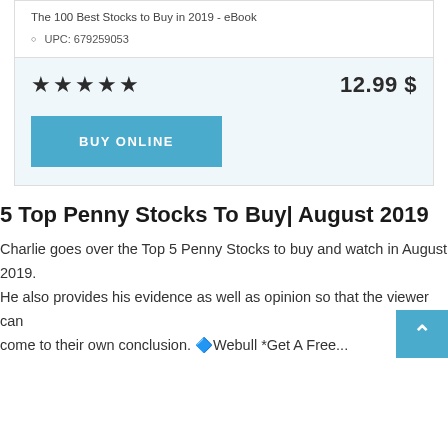The 100 Best Stocks to Buy in 2019 - eBook
UPC: 679259053
★★★★★   12.99 $
BUY ONLINE
5 Top Penny Stocks To Buy​| August 2019
Charlie goes over the Top 5 Penny Stocks to buy and watch in August 2019. He also provides his evidence as well as opinion so that the viewer can come to their own conclusion. 🔷Webull *Get A Free...